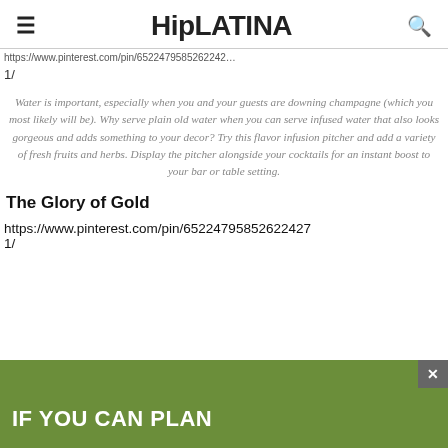HipLATINA
https://www.pinterest.com/pin/65224795852622427 1/
Water is important, especially when you and your guests are downing champagne (which you most likely will be). Why serve plain old water when you can serve infused water that also looks gorgeous and adds something to your decor? Try this flavor infusion pitcher and add a variety of fresh fruits and herbs. Display the pitcher alongside your cocktails for an instant boost to your bar or table setting.
The Glory of Gold
https://www.pinterest.com/pin/65224795852622427 1/
IF YOU CAN PLAN